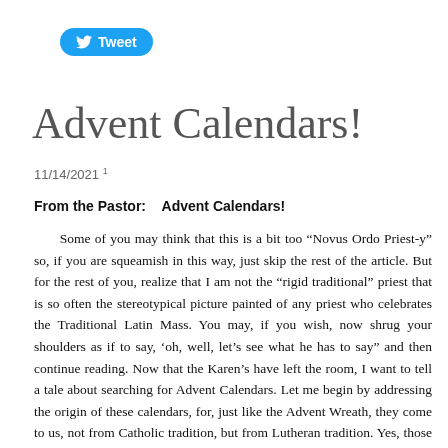[Figure (other): Twitter Tweet button with bird icon]
Advent Calendars!
11/14/2021
From the Pastor:    Advent Calendars!
Some of you may think that this is a bit too “Novus Ordo Priest-y” so, if you are squeamish in this way, just skip the rest of the article. But for the rest of you, realize that I am not the “rigid traditional” priest that is so often the stereotypical picture painted of any priest who celebrates the Traditional Latin Mass. You may, if you wish, now shrug your shoulders as if to say, ‘oh, well, let’s see what he has to say” and then continue reading. Now that the Karen’s have left the room, I want to tell a tale about searching for Advent Calendars. Let me begin by addressing the origin of these calendars, for, just like the Advent Wreath, they come to us, not from Catholic tradition, but from Lutheran tradition. Yes, those who are no longer supposed to be reading this could very easily be calling me “Little Francis’ right about now, for,